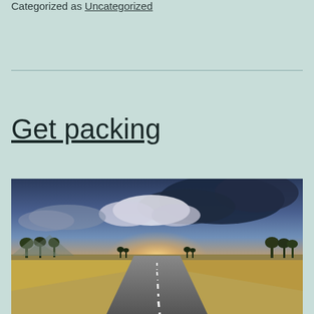Categorized as Uncategorized
Get packing
[Figure (photo): A long straight road stretching to the horizon under a dramatic cloudy sky with sunlight breaking through, flanked by flat fields and trees on both sides.]